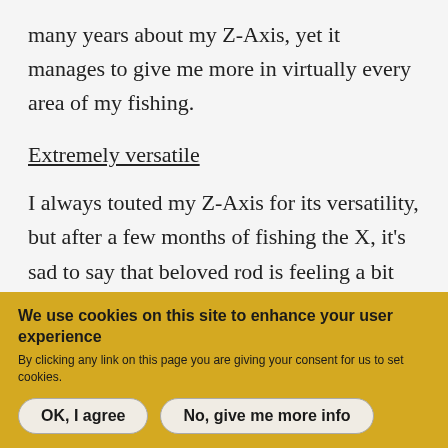many years about my Z-Axis, yet it manages to give me more in virtually every area of my fishing.
Extremely versatile
I always touted my Z-Axis for its versatility, but after a few months of fishing the X, it's sad to say that beloved rod is feeling a bit limited in comparison.
The X has proven to be the best fast-action dry fly rod
We use cookies on this site to enhance your user experience
By clicking any link on this page you are giving your consent for us to set cookies.
OK, I agree
No, give me more info